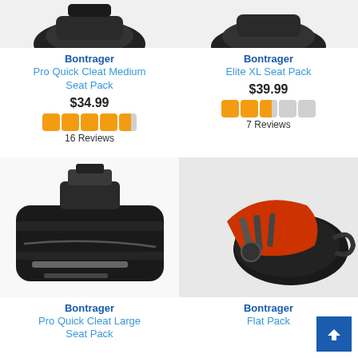[Figure (photo): Bontrager Pro Quick Cleat Medium Seat Pack product image (partially visible at top)]
Bontrager
Pro Quick Cleat Medium Seat Pack
$34.99
[Figure (infographic): 4.5 star rating shown as orange squares]
16 Reviews
[Figure (photo): Bontrager Elite XL Seat Pack product image (partially visible at top)]
Bontrager
Elite XL Seat Pack
$39.99
[Figure (infographic): 2.5 star rating shown as orange squares]
7 Reviews
[Figure (photo): Bontrager Pro Quick Cleat Large Seat Pack - black bicycle seat bag with quick cleat mount]
Bontrager
Pro Quick Cleat Large Seat Pack
[Figure (photo): Bontrager Flat Pack - black seat bag opened showing red interior and tools]
Bontrager
Flat Pack